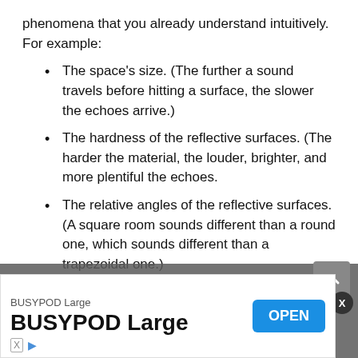phenomena that you already understand intuitively. For example:
The space's size. (The further a sound travels before hitting a surface, the slower the echoes arrive.)
The hardness of the reflective surfaces. (The harder the material, the louder, brighter, and more plentiful the echoes.
The relative angles of the reflective surfaces. (A square room sounds different than a round one, which sounds different than a trapezoidal one.)
The presence of other objects. (Soft surfaces like carpets, cushions, and acoustic foam diminish the reverb, usually affecting some frequencies more than others.)
The listener's location. (The further an ear or m... re...)
[Figure (screenshot): Advertisement banner for BUSYPOD Large with an OPEN button, and small X and play icons at bottom left.]